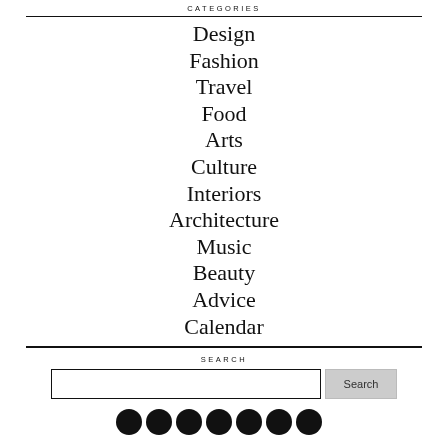CATEGORIES
Design
Fashion
Travel
Food
Arts
Culture
Interiors
Architecture
Music
Beauty
Advice
Calendar
SEARCH
[Figure (other): Social media icon buttons row (Facebook, Instagram, Pinterest, LinkedIn, and other social icons)]